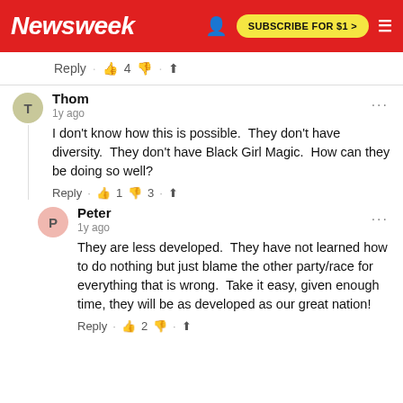Newsweek | SUBSCRIBE FOR $1 >
Reply · 👍 4 👎 · ⬆
Thom
1y ago
I don't know how this is possible.  They don't have diversity.  They don't have Black Girl Magic.  How can they be doing so well?
Reply · 👍 1 👎 3 · ⬆
Peter
1y ago
They are less developed.  They have not learned how to do nothing but just blame the other party/race for everything that is wrong.  Take it easy, given enough time, they will be as developed as our great nation!
Reply · 👍 2 👎 · ⬆